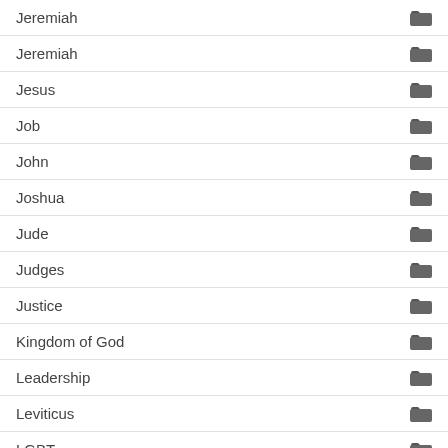Jeremiah
Jeremiah
Jesus
Job
John
Joshua
Jude
Judges
Justice
Kingdom of God
Leadership
Leviticus
LGBT